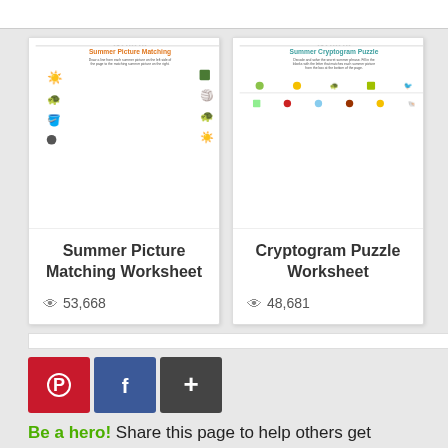[Figure (screenshot): Summer Picture Matching Worksheet preview card thumbnail]
Summer Picture Matching Worksheet
👁 53,668
[Figure (screenshot): Summer Cryptogram Puzzle Worksheet preview card thumbnail]
Cryptogram Puzzle Worksheet
👁 48,681
[Figure (infographic): Social share buttons: Pinterest (red), Facebook (blue), Plus (dark gray)]
Be a hero! Share this page to help others get FREE resources!